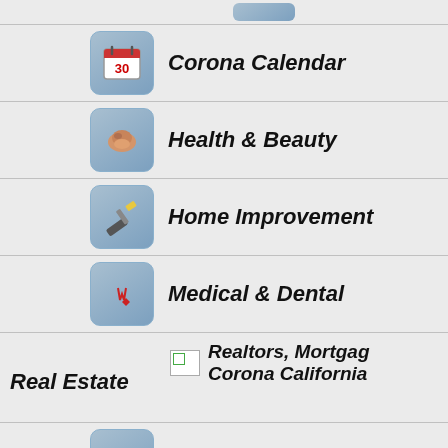(top partial icon stub)
Corona Calendar
Health & Beauty
Home Improvement
Medical & Dental
Real Estate — Realtors, Mortgage Corona California
Sports
InCorona home page — Home Page
Advertising Corona California